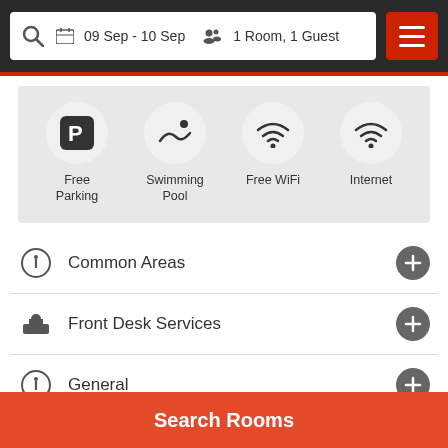09 Sep - 10 Sep   1 Room, 1 Guest
[Figure (infographic): Amenities icons: Free Parking (P icon), Swimming Pool (swimmer icon), Free WiFi (wifi icon), Internet (wifi icon)]
Common Areas
Front Desk Services
General
Miscellaneous
Search Rooms